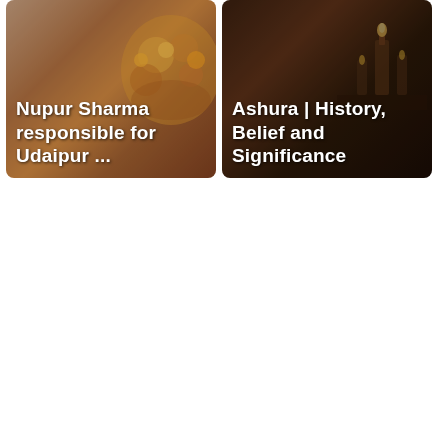[Figure (photo): Card thumbnail with orange/warm tones showing flowers, with white bold text overlay: 'Nupur Sharma responsible for Udaipur ...']
[Figure (photo): Card thumbnail with dark brown/black tones suggesting a religious/interior setting, with white bold text overlay: 'Ashura | History, Belief and Significance']